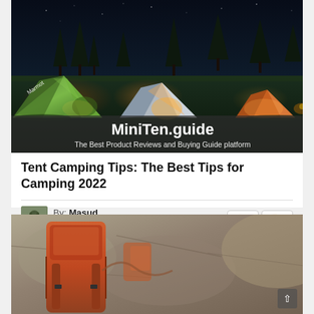[Figure (photo): Night camping scene with multiple illuminated tents including a green Marmot tent in foreground, surrounded by trees with MiniTen.guide branding overlay at bottom]
Tent Camping Tips: The Best Tips for Camping 2022
By: Masud Rana
[Figure (photo): Partial image of camping gear including what appears to be an orange/red backpack or equipment on a rocky or sandy surface]